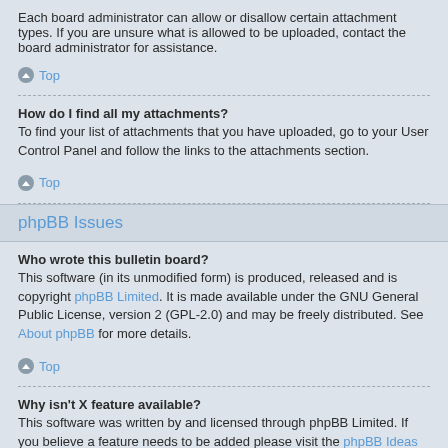Each board administrator can allow or disallow certain attachment types. If you are unsure what is allowed to be uploaded, contact the board administrator for assistance.
↑ Top
How do I find all my attachments?
To find your list of attachments that you have uploaded, go to your User Control Panel and follow the links to the attachments section.
↑ Top
phpBB Issues
Who wrote this bulletin board?
This software (in its unmodified form) is produced, released and is copyright phpBBLimited. It is made available under the GNU General Public License, version 2 (GPL-2.0) and may be freely distributed. See About phpBB for more details.
↑ Top
Why isn't X feature available?
This software was written by and licensed through phpBB Limited. If you believe a feature needs to be added please visit the phpBB Ideas Centre, where you can upvote existing ideas or suggest new features.